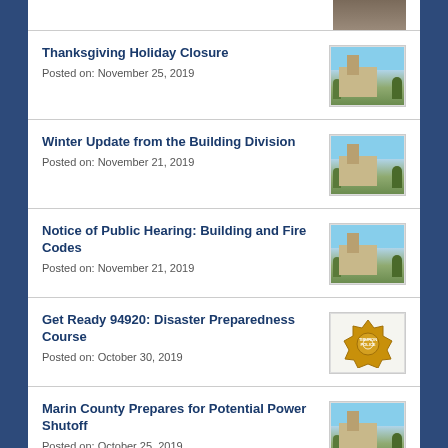[Figure (photo): Partial building photo at top]
Thanksgiving Holiday Closure
Posted on: November 25, 2019
Winter Update from the Building Division
Posted on: November 21, 2019
Notice of Public Hearing: Building and Fire Codes
Posted on: November 21, 2019
Get Ready 94920: Disaster Preparedness Course
Posted on: October 30, 2019
Marin County Prepares for Potential Power Shutoff
Posted on: October 25, 2019